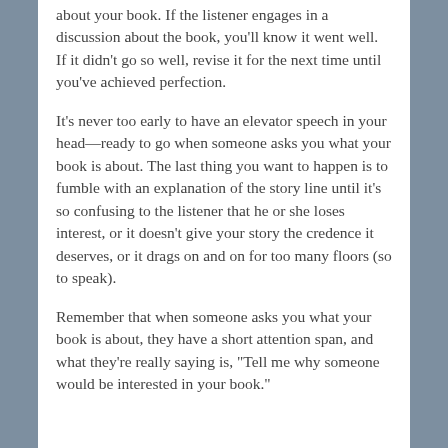about your book. If the listener engages in a discussion about the book, you'll know it went well. If it didn't go so well, revise it for the next time until you've achieved perfection.
It's never too early to have an elevator speech in your head—ready to go when someone asks you what your book is about. The last thing you want to happen is to fumble with an explanation of the story line until it's so confusing to the listener that he or she loses interest, or it doesn't give your story the credence it deserves, or it drags on and on for too many floors (so to speak).
Remember that when someone asks you what your book is about, they have a short attention span, and what they're really saying is, "Tell me why someone would be interested in your book."